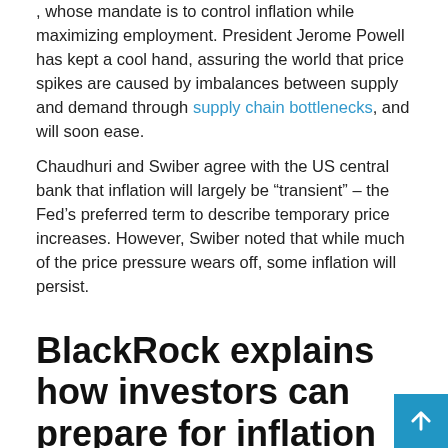, whose mandate is to control inflation while maximizing employment. President Jerome Powell has kept a cool hand, assuring the world that price spikes are caused by imbalances between supply and demand through supply chain bottlenecks, and will soon ease.
Chaudhuri and Swiber agree with the US central bank that inflation will largely be “transient” – the Fed’s preferred term to describe temporary price increases. However, Swiber noted that while much of the price pressure wears off, some inflation will persist.
BlackRock explains how investors can prepare for inflation
While stagflation is not a credible concern for BlackRock, the company still notes that unusually high inflation is expected to affect the economy time as compared to past...